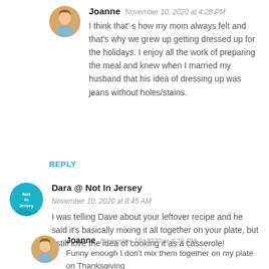[Figure (illustration): Circular avatar photo of Joanne, a woman with light brown hair]
Joanne  November 10, 2020 at 4:28 PM
I think that' s how my mom always felt and that's why we grew up getting dressed up for the holidays. I enjoy all the work of preparing the meal and knew when I married my husband that his idea of dressing up was jeans without holes/stains.
REPLY
[Figure (logo): Circular logo for 'Not in Jersey' blog with teal background and white text]
Dara @ Not In Jersey
November 10, 2020 at 8:45 AM
I was telling Dave about your leftover recipe and he said it's basically mixing it all together on your plate, but I still love the idea of cooking it as a casserole!
[Figure (illustration): Circular avatar photo of Joanne, a woman with light brown hair]
Joanne  November 10, 2020 at 4:29 PM
Funny enough I don't mix them together on my plate on Thanksgiving